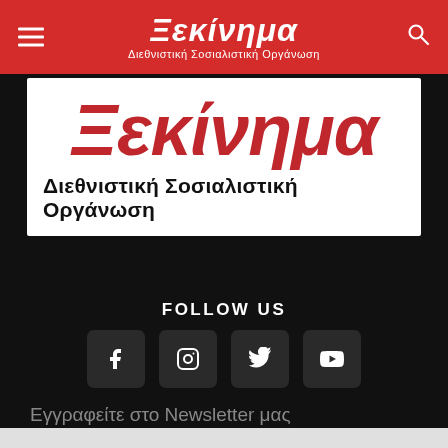Ξεκίνημα — Διεθνιστική Σοσιαλιστική Οργάνωση
[Figure (logo): Large red italic bold Greek text 'Ξεκίνημα' (logo) with subtitle 'Διεθνιστική Σοσιαλιστική Οργάνωση' in bold black on white background]
FOLLOW US
[Figure (infographic): Four dark square social media icon buttons in a row: Facebook (f), Instagram (camera), Twitter (bird), YouTube (play button)]
Εγγραφείτε στο Newsletter μας